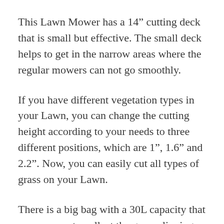This Lawn Mower has a 14″ cutting deck that is small but effective. The small deck helps to get in the narrow areas where the regular mowers can not go smoothly.
If you have different vegetation types in your Lawn, you can change the cutting height according to your needs to three different positions, which are 1″, 1.6″ and 2.2″. Now, you can easily cut all types of grass on your Lawn.
There is a big bag with a 30L capacity that you can use to collect the grass clippings. The handle on the bag makes it easier to carry the bag, and it is easily detachable so that you can get rid of the grass clippings...